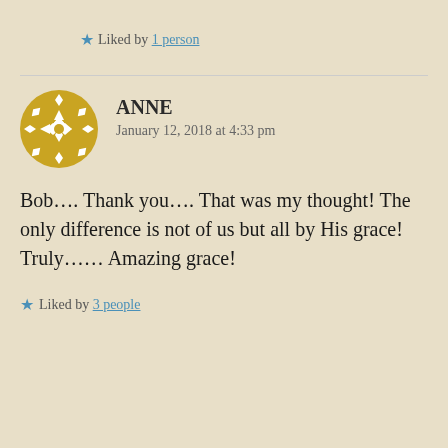★ Liked by 1 person
[Figure (illustration): Golden decorative circular avatar icon with geometric diamond/cross pattern for user Anne]
ANNE
January 12, 2018 at 4:33 pm
Bob.... Thank you.... That was my thought! The only difference is not of us but all by His grace! Truly...... Amazing grace!
★ Liked by 3 people